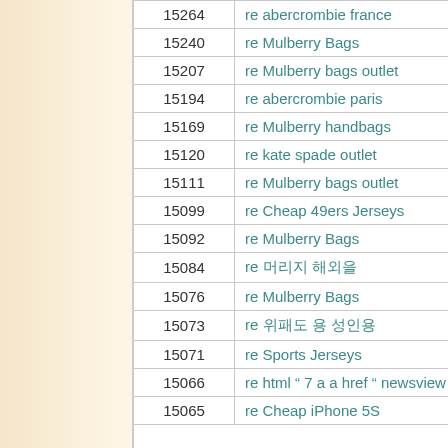| number | label |
| --- | --- |
| 15264 | re abercrombie france |
| 15240 | re Mulberry Bags |
| 15207 | re Mulberry bags outlet |
| 15194 | re abercrombie paris |
| 15169 | re Mulberry handbags |
| 15120 | re kate spade outlet |
| 15111 | re Mulberry bags outlet |
| 15099 | re Cheap 49ers Jerseys |
| 15092 | re Mulberry Bags |
| 15084 | re 머뢬지 해외을 |
| 15076 | re Mulberry Bags |
| 15073 | re 위패도 용 성인용 |
| 15071 | re Sports Jerseys |
| 15066 | re html " 7 a a href " newsview |
| 15065 | re Cheap iPhone 5S |